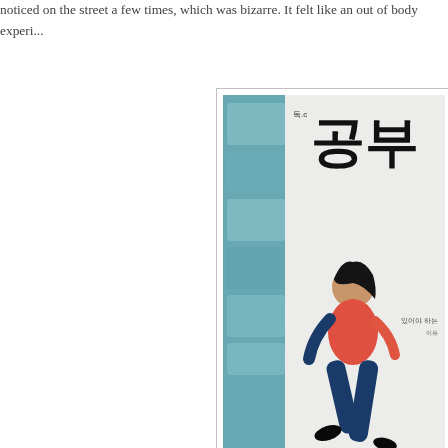noticed on the street a few times, which was bizarre. It felt like an out of body experi...
[Figure (photo): A Korean drama or advertisement poster showing a person in a red top and blue jeans jumping/running, with Korean text characters. The poster appears to be displayed on a wall or banner, with KBS logo and other Korean text at the bottom.]
Luckily, I haven't been jet-lagged! I don... for me to adjust to any timezone–perha... parents are moving to a new house, so... belongings that I've lugged around for ... freshman year of high school or so, an... that is clearly no longer age appropriat... I sorted through my entire closet and d... pants! The best part was that I drove b... stayed at school for spring break, to joi... Harvardian; campus is just a short 40...